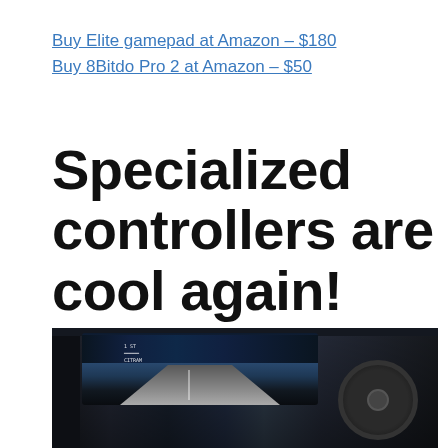Buy Elite gamepad at Amazon – $180
Buy 8Bitdo Pro 2 at Amazon – $50
Specialized controllers are cool again!
[Figure (photo): A racing game setup showing a steering wheel controller in the foreground and a curved ultrawide monitor displaying a street racing game with city scenery in the background.]